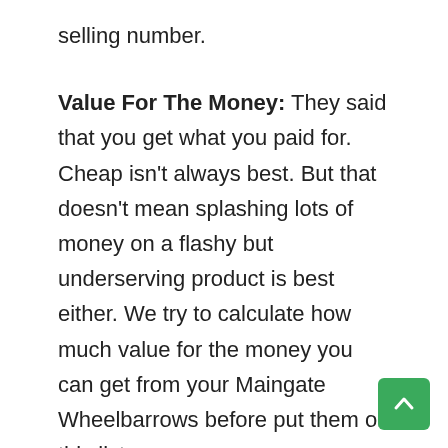selling number.
Value For The Money: They said that you get what you paid for. Cheap isn't always best. But that doesn't mean splashing lots of money on a flashy but underserving product is best either. We try to calculate how much value for the money you can get from your Maingate Wheelbarrows before put them on this list.
Durability: Durability go hand to hand. A robust and durable Maingate Wheelbarrows will serve you for months and years to come.
Availability: Product comes and go new products take the place of the old ones. In all likelihood some new featu was added, some necessary modifications has been